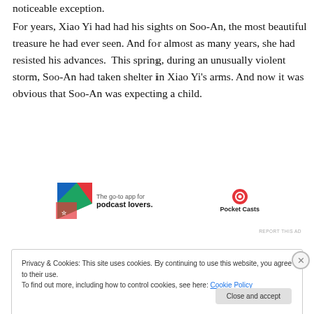noticeable exception.
For years, Xiao Yi had had his sights on Soo-An, the most beautiful treasure he had ever seen. And for almost as many years, she had resisted his advances.  This spring, during an unusually violent storm, Soo-An had taken shelter in Xiao Yi's arms. And now it was obvious that Soo-An was expecting a child.
[Figure (other): Pocket Casts advertisement banner: The go-to app for podcast lovers. Pocket Casts logo.]
REPORT THIS AD
Privacy & Cookies: This site uses cookies. By continuing to use this website, you agree to their use.
To find out more, including how to control cookies, see here: Cookie Policy
Close and accept